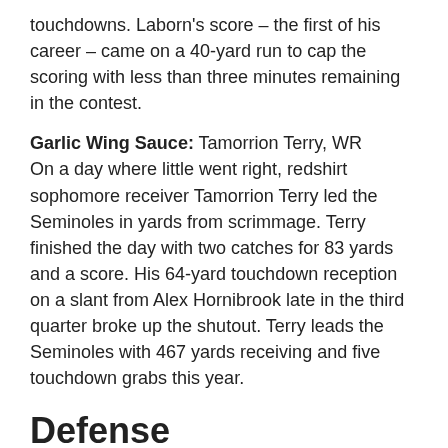touchdowns. Laborn's score – the first of his career – came on a 40-yard run to cap the scoring with less than three minutes remaining in the contest.
Garlic Wing Sauce: Tamorrion Terry, WR
On a day where little went right, redshirt sophomore receiver Tamorrion Terry led the Seminoles in yards from scrimmage. Terry finished the day with two catches for 83 yards and a score. His 64-yard touchdown reception on a slant from Alex Hornibrook late in the third quarter broke up the shutout. Terry leads the Seminoles with 467 yards receiving and five touchdown grabs this year.
Defense
Mike, John, Cory and Rednollah: Janarius Robinson, DE
Don't look now, but redshirt junior defensive end Janarius